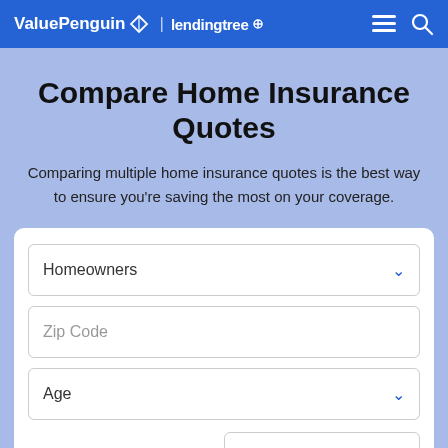ValuePenguin | lendingtree
Compare Home Insurance Quotes
Comparing multiple home insurance quotes is the best way to ensure you're saving the most on your coverage.
Homeowners (dropdown)
Zip Code (input)
Age (dropdown)
Currently insured? Yes (dropdown)